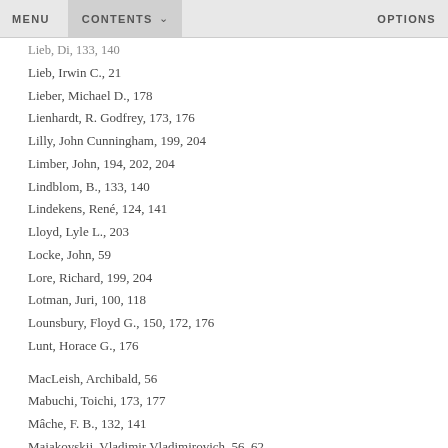MENU   CONTENTS   OPTIONS
Lieb, Di, 133, 140
Lieb, Irwin C., 21
Lieber, Michael D., 178
Lienhardt, R. Godfrey, 173, 176
Lilly, John Cunningham, 199, 204
Limber, John, 194, 202, 204
Lindblom, B., 133, 140
Lindekens, René, 124, 141
Lloyd, Lyle L., 203
Locke, John, 59
Lore, Richard, 199, 204
Lotman, Juri, 100, 118
Lounsbury, Floyd G., 150, 172, 176
Lunt, Horace G., 176
MacLeish, Archibald, 56
Mabuchi, Toichi, 173, 177
Mâche, F. B., 132, 141
Majakovskij, Vladimir Vladimirovich, 56, 62